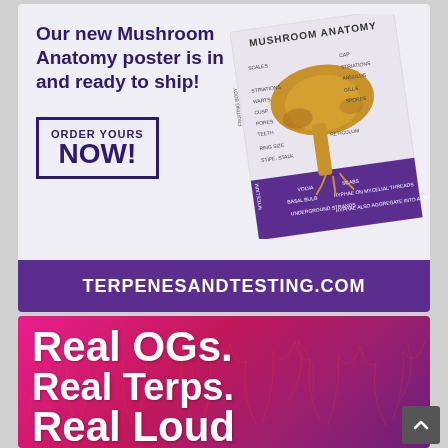[Figure (illustration): Advertisement for Terpenes and Testing: Mushroom Anatomy poster ad with purple and gold illustrated mushroom anatomy poster image, text 'Our new Mushroom Anatomy poster is in and ready to ship!', 'ORDER YOURS NOW!' button, and website TERPENESANDTESTING.COM on purple banner]
[Figure (illustration): Advertisement with hot pink/magenta gradient background with illustrated mushroom/plant imagery overlay, large white bold text reading 'Real OGs. Real Terps. Real Loud']